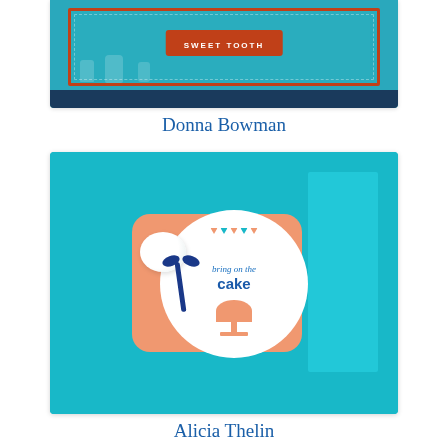[Figure (photo): Handmade greeting card with teal background, 'SWEET TOOTH' stamped label in burnt orange/red border frame, candy jar illustrations, partially cropped at top]
Donna Bowman
[Figure (photo): Handmade birthday card featuring teal card base, peach scalloped layer, white circular medallion stamped with 'bring on the cake' in blue, white pom pom embellishment, navy ribbon bow]
Alicia Thelin
[Figure (photo): Handmade card with aqua/teal diagonal stripe pattern, partially cropped at bottom of page]